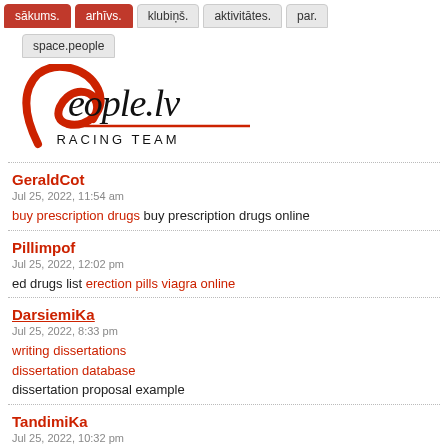sākums. | arhīvs. | klubiņš. | aktivitātes. | par. | space.people
[Figure (logo): People.lv Racing Team logo with stylized red and black script lettering]
GeraldCot
Jul 25, 2022, 11:54 am
buy prescription drugs buy prescription drugs online
Pillimpof
Jul 25, 2022, 12:02 pm
ed drugs list erection pills viagra online
DarsiemiKa
Jul 25, 2022, 8:33 pm
writing dissertations
dissertation database
dissertation proposal example
TandimiKa
Jul 25, 2022, 10:32 pm